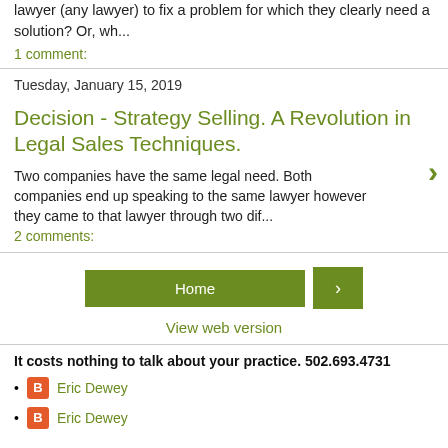lawyer (any lawyer) to fix a problem for which they clearly need a solution? Or, wh...
1 comment:
Tuesday, January 15, 2019
Decision - Strategy Selling. A Revolution in Legal Sales Techniques.
Two companies have the same legal need. Both companies end up speaking to the same lawyer however they came to that lawyer through two dif...
2 comments:
Home
View web version
It costs nothing to talk about your practice. 502.693.4731
Eric Dewey
Eric Dewey